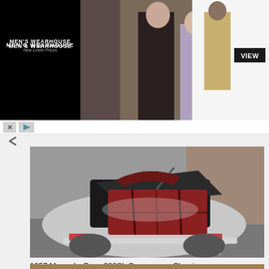[Figure (photo): Men's Wearhouse advertisement banner with black left panel showing logo and 'New Lower Prices', center photo of man in dark tuxedo with woman in formal dress, right panel showing tan suit figure and VIEW button]
[Figure (photo): Rear view of a silver 1957 Mercedes-Benz 300SL with trunk open revealing dark red/maroon interior luggage compartment, parked on asphalt]
1957 MercedesBenz 300SL Camaro car, Classic cars
[Figure (photo): Partial view of another classic car at the bottom of the page, barely visible]